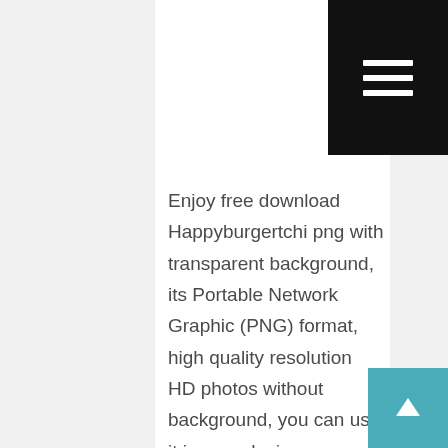[Figure (other): Black hamburger menu button in top right corner with three white horizontal lines]
Enjoy free download Happyburgertchi png with transparent background, its Portable Network Graphic (PNG) format, high quality resolution HD photos without background, you can use it in your designs.
You can open PNG images using several programs, available freely and commercially. Almost any image or video editor can help you open PNG images. Web browsers and software applications like Windows and macOS also support PNG files.
[Figure (other): Teal scroll-to-top button in bottom right corner with upward-pointing arrow]